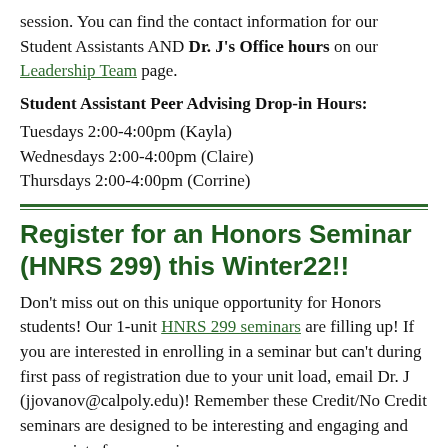session. You can find the contact information for our Student Assistants AND Dr. J's Office hours on our Leadership Team page.
Student Assistant Peer Advising Drop-in Hours:
Tuesdays 2:00-4:00pm (Kayla)
Wednesdays 2:00-4:00pm (Claire)
Thursdays 2:00-4:00pm (Corrine)
Register for an Honors Seminar (HNRS 299) this Winter22!!
Don't miss out on this unique opportunity for Honors students! Our 1-unit HNRS 299 seminars are filling up! If you are interested in enrolling in a seminar but can't during first pass of registration due to your unit load, email Dr. J (jjovanov@calpoly.edu)! Remember these Credit/No Credit seminars are designed to be interesting and engaging and appropriate for any major.